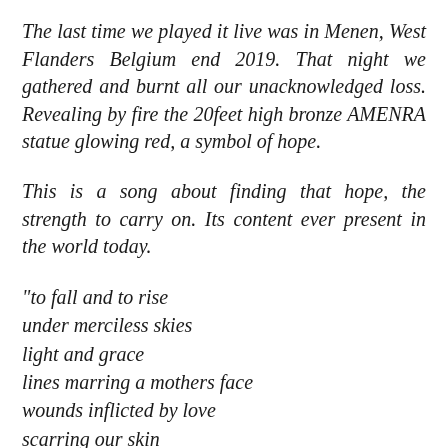The last time we played it live was in Menen, West Flanders Belgium end 2019. That night we gathered and burnt all our unacknowledged loss. Revealing by fire the 20feet high bronze AMENRA statue glowing red, a symbol of hope.
This is a song about finding that hope, the strength to carry on. Its content ever present in the world today.
"to fall and to rise
under merciless skies
light and grace
lines marring a mothers face
wounds inflicted by love
scarring our skin
...